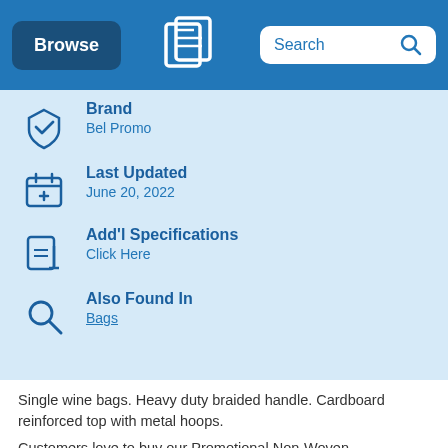Browse | [Logo] | Search
Brand
Bel Promo
Last Updated
June 20, 2022
Add'l Specifications
Click Here
Also Found In
Bags
Single wine bags. Heavy duty braided handle. Cardboard reinforced top with metal hoops.
Customers love to buy our Promotional Non-Woven